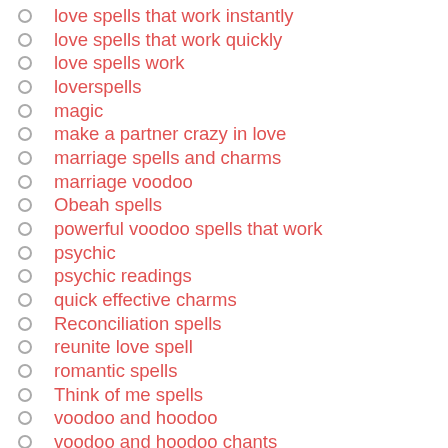love spells that work instantly
love spells that work quickly
love spells work
loverspells
magic
make a partner crazy in love
marriage spells and charms
marriage voodoo
Obeah spells
powerful voodoo spells that work
psychic
psychic readings
quick effective charms
Reconciliation spells
reunite love spell
romantic spells
Think of me spells
voodoo and hoodoo
voodoo and hoodoo chants